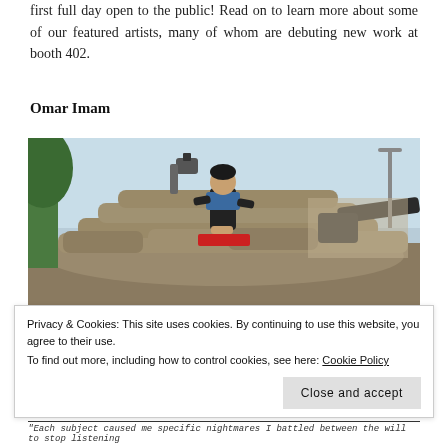first full day open to the public! Read on to learn more about some of our featured artists, many of whom are debuting new work at booth 402.
Omar Imam
[Figure (photo): A man standing on top of a pile of sandbags, holding something, with military equipment including what appears to be a cannon barrel visible to the right. Trees and buildings visible in background under a pale blue sky.]
Privacy & Cookies: This site uses cookies. By continuing to use this website, you agree to their use.
To find out more, including how to control cookies, see here: Cookie Policy
Close and accept
"Each subject caused me specific nightmares I battled between the will to stop listening